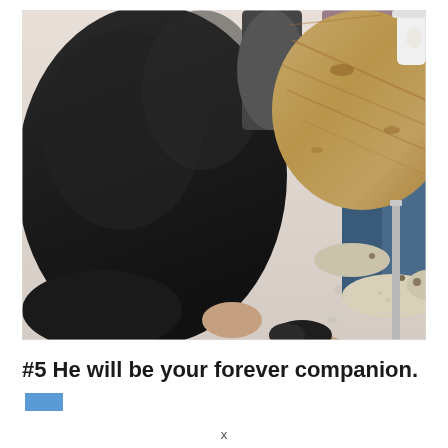[Figure (photo): A large black dog being hugged by a person wearing jeans and fuzzy bear slippers, standing next to a round wooden table with metal legs. The photo is taken from above looking down.]
#5 He will be your forever companion.